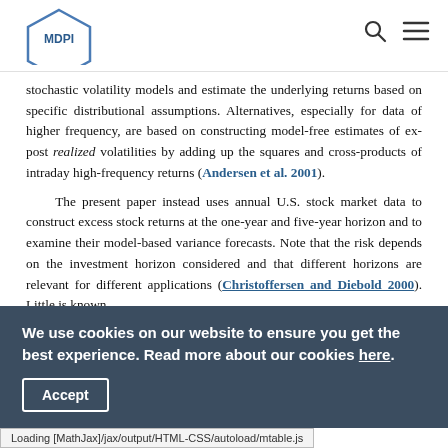MDPI
stochastic volatility models and estimate the underlying returns based on specific distributional assumptions. Alternatives, especially for data of higher frequency, are based on constructing model-free estimates of ex-post realized volatilities by adding up the squares and cross-products of intraday high-frequency returns (Andersen et al. 2001).
The present paper instead uses annual U.S. stock market data to construct excess stock returns at the one-year and five-year horizon and to examine their model-based variance forecasts. Note that the risk depends on the investment horizon considered and that different horizons are relevant for different applications (Christoffersen and Diebold 2000). Little is known
We use cookies on our website to ensure you get the best experience. Read more about our cookies here.
Accept
Loading [MathJax]/jax/output/HTML-CSS/autoload/mtable.js